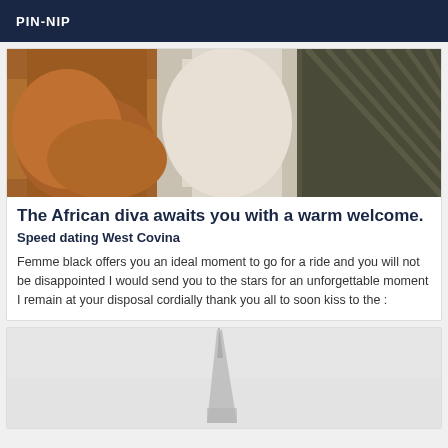PIN-NIP
[Figure (photo): Close-up photo of a person's body/hands]
The African diva awaits you with a warm welcome.
Speed dating West Covina
Femme black offers you an ideal moment to go for a ride and you will not be disappointed I would send you to the stars for an unforgettable moment I remain at your disposal cordially thank you all to soon kiss to the :
[Figure (photo): Misty/foggy photo of a tall tower or spire structure]